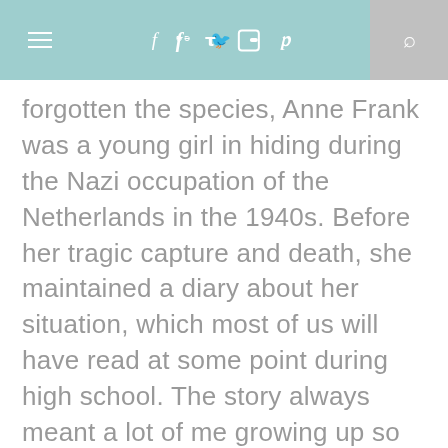≡ f 🐦 📷 𝓟 🔍
forgotten the species, Anne Frank was a young girl in hiding during the Nazi occupation of the Netherlands in the 1940s. Before her tragic capture and death, she maintained a diary about her situation, which most of us will have read at some point during high school. The story always meant a lot of me growing up so this is somewhere I simply would have to visit. The historical site is the house, still standing, where Frank hid and wrote her famous diary. And if it sounds like something of an outdated attraction, consider this: The Times Of Israel reported just a few weeks ago that